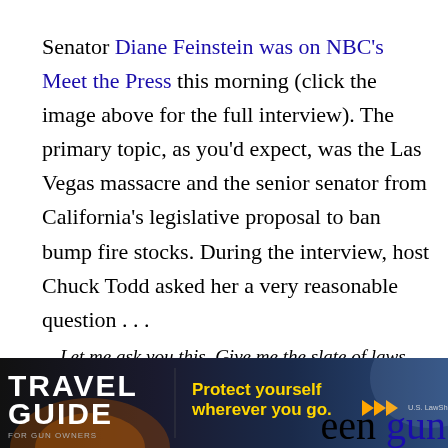Senator Diane Feinstein was on NBC's Meet the Press this morning (click the image above for the full interview). The primary topic, as you'd expect, was the Las Vegas massacre and the senior senator from California's legislative proposal to ban bump fire stocks. During the interview, host Chuck Todd asked her a very reasonable question . . .
Let me ask you this. Give me the slate of laws that, if you could wave your wand and have enacted, that could have prevented Vegas.
[Figure (other): Advertisement banner for Travel Guide for Gun Owners / US Law Shield: 'Protect yourself wherever you go.' with arrows]
...een gun